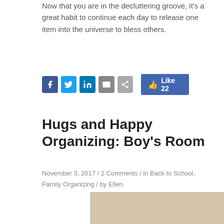Now that you are in the decluttering groove, it's a great habit to continue each day to release one item into the universe to bless others.
[Figure (screenshot): Social sharing bar with Facebook, Twitter, LinkedIn, email, share buttons, a Facebook Like button showing 22 likes, and a Pinterest button]
Hugs and Happy Organizing: Boy's Room
November 3, 2017 / 2 Comments / in Back to School, Family Organizing / by Ellen
[Figure (photo): A boy's messy bedroom with a blue-covered bed, toys scattered around, a blue table, and a cyan panel showing the text Professional-Organizer.com]